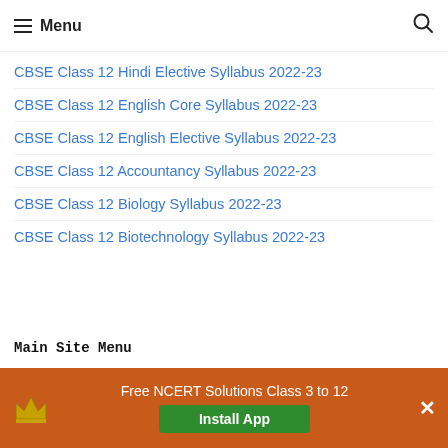Menu
CBSE Class 12 Hindi Elective Syllabus 2022-23
CBSE Class 12 English Core Syllabus 2022-23
CBSE Class 12 English Elective Syllabus 2022-23
CBSE Class 12 Accountancy Syllabus 2022-23
CBSE Class 12 Biology Syllabus 2022-23
CBSE Class 12 Biotechnology Syllabus 2022-23
Main Site Menu
CBSE Pre-School
Free NCERT Solutions Class 3 to 12
Install App